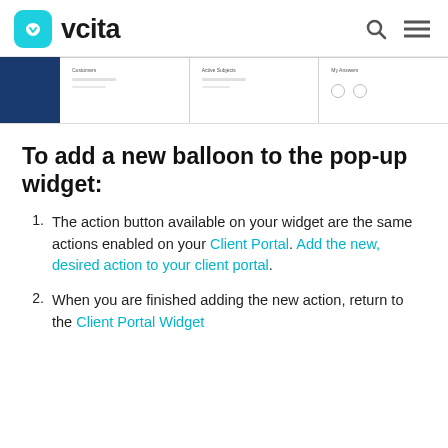vcita
[Figure (screenshot): Partial screenshot of a web application dashboard showing navigation tabs including Customers, Active Subjects, and My Answers]
To add a new balloon to the pop-up widget:
The action button available on your widget are the same actions enabled on your Client Portal. Add the new, desired action to your client portal.
When you are finished adding the new action, return to the Client Portal Widget